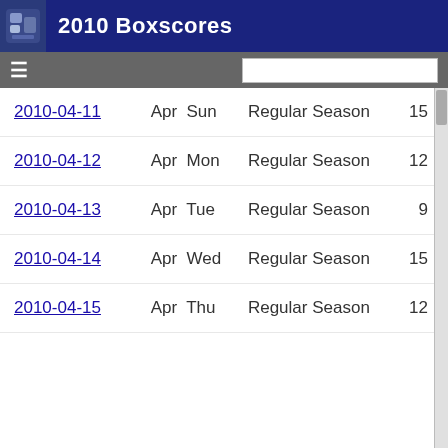2010 Boxscores
| Date | Month | Day | Season | Games |
| --- | --- | --- | --- | --- |
| 2010-04-11 | Apr | Sun | Regular Season | 15 |
| 2010-04-12 | Apr | Mon | Regular Season | 12 |
| 2010-04-13 | Apr | Tue | Regular Season | 9 |
| 2010-04-14 | Apr | Wed | Regular Season | 15 |
| 2010-04-15 | Apr | Thu | Regular Season | 12 |